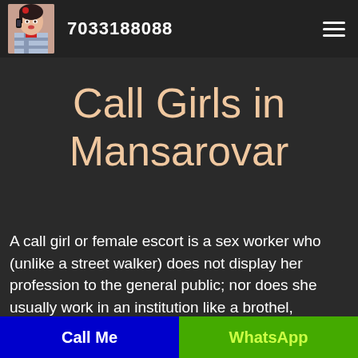7033188088
Call Girls in Mansarovar
A call girl or female escort is a sex worker who (unlike a street walker) does not display her profession to the general public; nor does she usually work in an institution like a brothel, although she may be employed by an escort
Call Me   WhatsApp